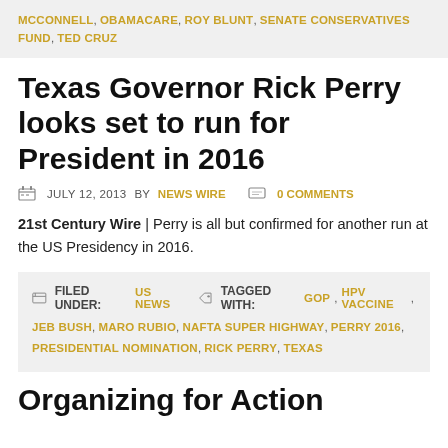MCCONNELL, OBAMACARE, ROY BLUNT, SENATE CONSERVATIVES FUND, TED CRUZ
Texas Governor Rick Perry looks set to run for President in 2016
JULY 12, 2013 BY NEWS WIRE   0 COMMENTS
21st Century Wire | Perry is all but confirmed for another run at the US Presidency in 2016.
FILED UNDER: US NEWS   TAGGED WITH: GOP, HPV VACCINE, JEB BUSH, MARO RUBIO, NAFTA SUPER HIGHWAY, PERRY 2016, PRESIDENTIAL NOMINATION, RICK PERRY, TEXAS
Organizing for Action